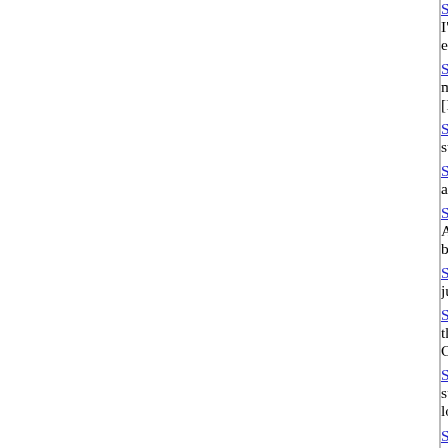She Likes Trains: The Little Engineer That Co... I'll get him someday. On our time. And, why a... engineer. Lancaster lucky. [6,321 words] [Rel...
She Likes Trains: The Locomotive Stairway T... moment, the moment I took my first ride in a... [Relationships]
She Likes Trains: The Railroad Sweet Spot (...) sweet spot. [3,015 words] [Relationships]
She Likes Trains: The South Side Of Paradis... and train chasing. [6,629 words] [Relationshi...
She Likes Trains: The Stairway To Locomotiv... Alco 98 curves upward, today is the start into... because of Kimberly. I'll take it. [1,969 words]
She Likes Trains: Train Struck (Essays) Whe... just happen. 269's turn. [4,227 words] [Relati...
Shellbell's Flight Adventure (Non-Fiction) I've... theme so I thought you might enjoy reading a... Cessna 172 Skyhawk! [1,797 words] [Advent...
Simply Friends (Novels) The story of Ted Ha... stories up here about them, this is the novel... love just grows without even trying to make it...
Sincerely, Michelle White (Short Stories) A p... relationship with a band manager has been p... [Relationships]
Six Speeches To Success (Non-Fiction) In Ja... complete my first certification by November, 2... from flying, to owning a restaurant, to Interne...
Sky Bound (Short Stories) Aviation Series str...